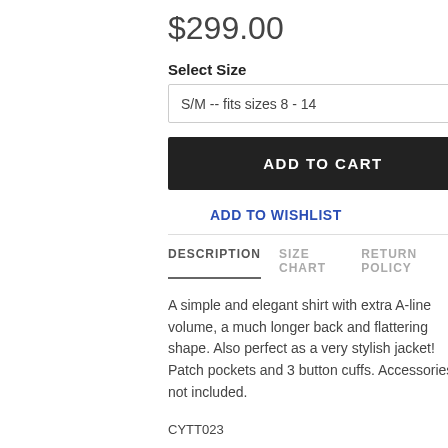$299.00
Select Size
S/M -- fits sizes 8 - 14
ADD TO CART
ADD TO WISHLIST
DESCRIPTION  SIZE CHART  RETURN POLICY
A simple and elegant shirt with extra A-line volume, a much longer back and flattering shape. Also perfect as a very stylish jacket! Patch pockets and 3 button cuffs. Accessories not included.
CYTT023
Fabric: Carnaby (Light Cotton)
Colour: White
Style: Shirt